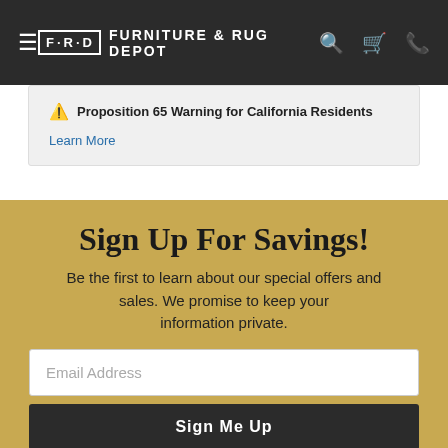Furniture & Rug Depot
⚠️ Proposition 65 Warning for California Residents
Learn More
Sign Up For Savings!
Be the first to learn about our special offers and sales. We promise to keep your information private.
Email Address
Sign Me Up